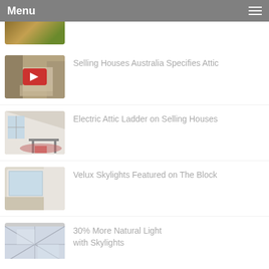Menu
(partial image, top cut off)
Selling Houses Australia Specifies Attic
Electric Attic Ladder on Selling Houses
Velux Skylights Featured on The Block
30% More Natural Light with Skylights